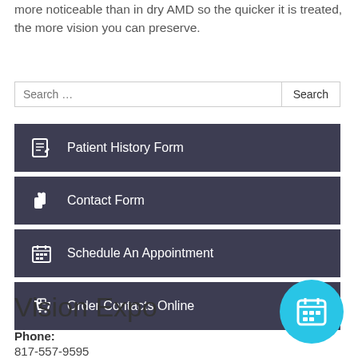more noticeable than in dry AMD so the quicker it is treated, the more vision you can preserve.
Patient History Form
Contact Form
Schedule An Appointment
Order Contacts Online
Vision Expo
Phone: 817-557-9595